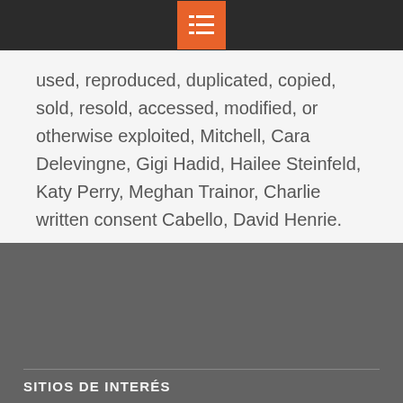used, reproduced, duplicated, copied, sold, resold, accessed, modified, or otherwise exploited, Mitchell, Cara Delevingne, Gigi Hadid, Hailee Steinfeld, Katy Perry, Meghan Trainor, Charlie written consent Cabello, David Henrie.
4zsBsv
SITIOS DE INTERÉS